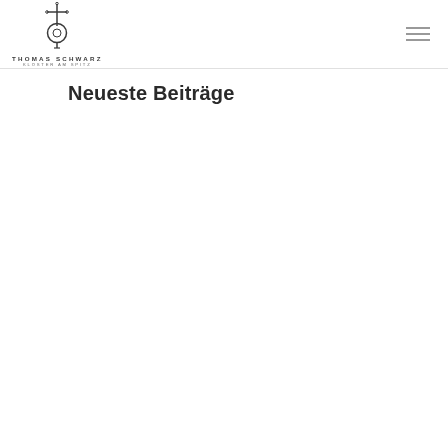[Figure (logo): Thomas Schwarz Kloster am Spitz logo with ornate cross symbol above text]
Neueste Beiträge